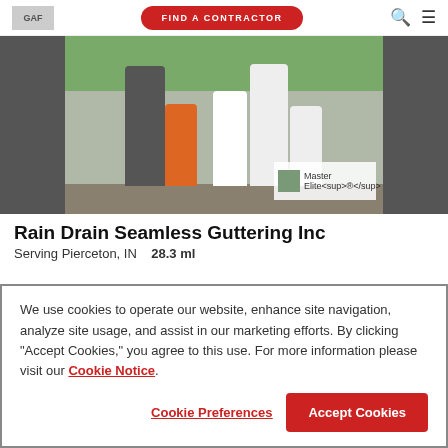GAF | FIND A CONTRACTOR
[Figure (photo): Family photo showing adults and three children outdoors, with a GAF Master Elite badge overlay in bottom right corner of the banner area]
Rain Drain Seamless Guttering Inc
Serving Pierceton, IN   28.3 ml
We use cookies to operate our website, enhance site navigation, analyze site usage, and assist in our marketing efforts. By clicking "Accept Cookies," you agree to this use. For more information please visit our Cookie Notice.
Cookie Preferences | Accept Cookies